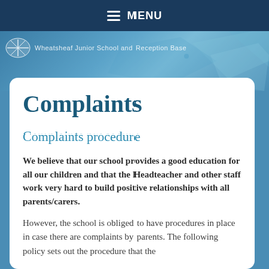MENU
[Figure (logo): School logo with text banner showing school name]
Complaints
Complaints procedure
We believe that our school provides a good education for all our children and that the Headteacher and other staff work very hard to build positive relationships with all parents/carers.
However, the school is obliged to have procedures in place in case there are complaints by parents. The following policy sets out the procedure that the